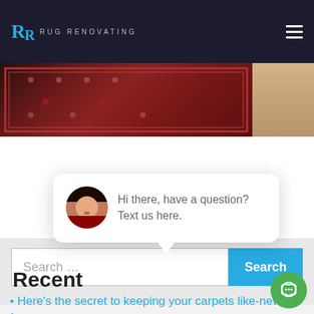[Figure (screenshot): Website header with dark navy background, Rug Renovating logo with stylized R letters in blue and company name in grey, hamburger menu icon on right]
[Figure (photo): Rug photo strip showing dark red patterned rug on left and lighter tan/beige rug on right]
[Figure (screenshot): Search bar with text 'Search ...' and blue Search button, with close text link]
[Figure (infographic): Chat popup overlay with woman avatar and text 'Hi there, have a question? Text us here.' with green chat button]
Recent
Here's the secret to keeping your carpets like-new for many years to